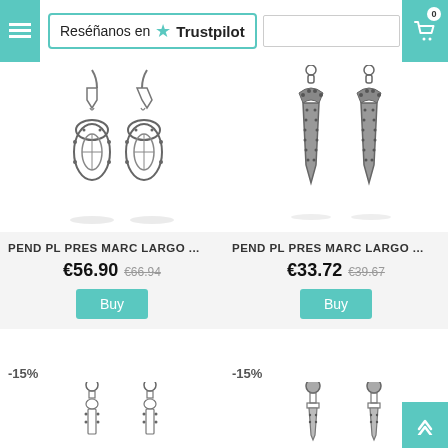Reséñanos en Trustpilot
[Figure (photo): Silver ornate drop earrings with oval filigree design and marcasite stones]
[Figure (photo): Silver elongated pointed drop earrings with marcasite stones]
PEND PL PRES MARC LARGO ...
PEND PL PRES MARC LARGO ...
€56.90  €66.94
€33.72  €39.67
-15%
-15%
[Figure (photo): Silver art deco style long drop earrings with rectangular sections and marcasite stones]
[Figure (photo): Silver long tapered drop earrings with round top and marcasite stones]